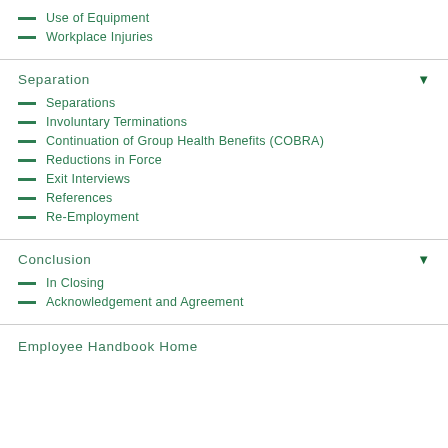Use of Equipment
Workplace Injuries
Separation
Separations
Involuntary Terminations
Continuation of Group Health Benefits (COBRA)
Reductions in Force
Exit Interviews
References
Re-Employment
Conclusion
In Closing
Acknowledgement and Agreement
Employee Handbook Home